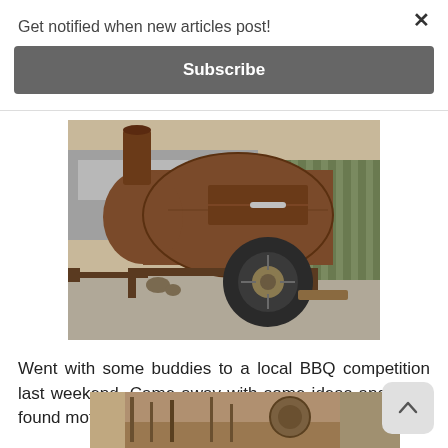Get notified when new articles post!
Subscribe
[Figure (photo): A rusty BBQ smoker on a trailer with a large wheel, parked on a concrete pad near a wooden fence and shed.]
Went with some buddies to a local BBQ competition last weekend. Came away with some ideas and new-found motivation.
[Figure (photo): Interior of a BBQ smoker or storage area showing tools, hoses, and equipment inside a metal container.]